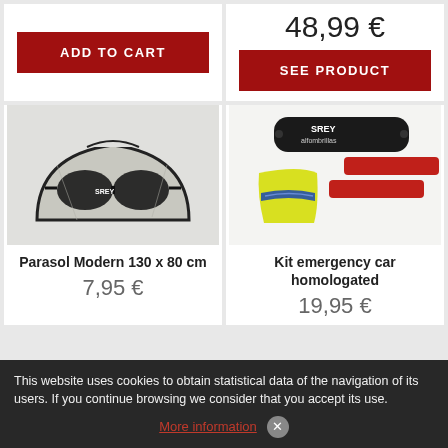[Figure (other): ADD TO CART button on left product card top]
[Figure (other): Price 48,99 € and SEE PRODUCT button on right product card top]
[Figure (photo): Parasol Modern with glasses design, silver reflective sun shade]
[Figure (photo): Kit emergency car homologated with safety vest, red warning triangles, and black REY bag]
Parasol Modern 130 x 80 cm
Kit emergency car homologated
7,95 €
19,95 €
This website uses cookies to obtain statistical data of the navigation of its users. If you continue browsing we consider that you accept its use.
More information